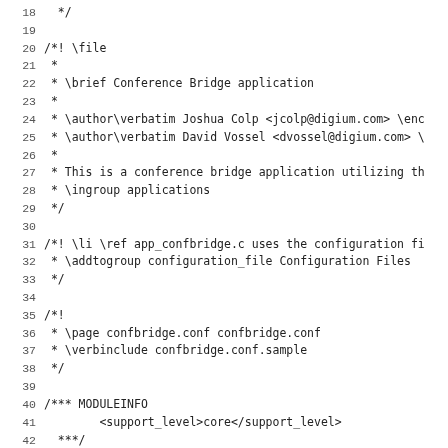Code listing lines 18-50: app_confbridge.c source file showing file documentation comments, module info, and includes